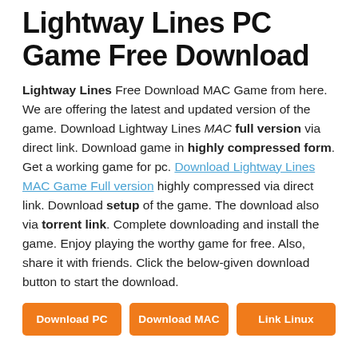Lightway Lines PC Game Free Download
Lightway Lines Free Download MAC Game from here. We are offering the latest and updated version of the game. Download Lightway Lines MAC full version via direct link. Download game in highly compressed form. Get a working game for pc. Download Lightway Lines MAC Game Full version highly compressed via direct link. Download setup of the game. The download also via torrent link. Complete downloading and install the game. Enjoy playing the worthy game for free. Also, share it with friends. Click the below-given download button to start the download.
Download PC
Download MAC
Link Linux